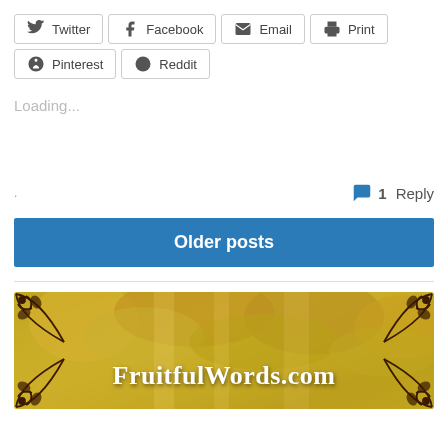Twitter | Facebook | Email | Print | Pinterest | Reddit (share buttons)
Loading...
1 Reply
Older posts
[Figure (illustration): FruitfulWords.com banner image with golden autumn tree foliage background and decorative scroll corner ornaments]